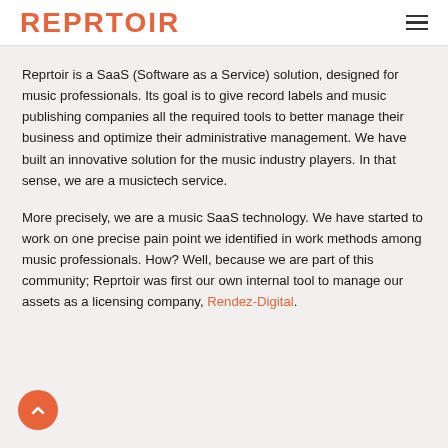REPRTOIR
Reprtoir is a SaaS (Software as a Service) solution, designed for music professionals. Its goal is to give record labels and music publishing companies all the required tools to better manage their business and optimize their administrative management. We have built an innovative solution for the music industry players. In that sense, we are a musictech service.
More precisely, we are a music SaaS technology. We have started to work on one precise pain point we identified in work methods among music professionals. How? Well, because we are part of this community; Reprtoir was first our own internal tool to manage our assets as a licensing company, Rendez-Digital.